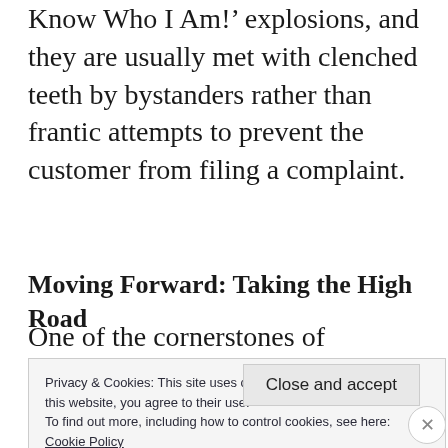Know Who I Am!' explosions, and they are usually met with clenched teeth by bystanders rather than frantic attempts to prevent the customer from filing a complaint.
Moving Forward: Taking the High Road
One of the cornerstones of behavioral therapy is to allow the patient to share his or her...
Privacy & Cookies: This site uses cookies. By continuing to use this website, you agree to their use.
To find out more, including how to control cookies, see here: Cookie Policy